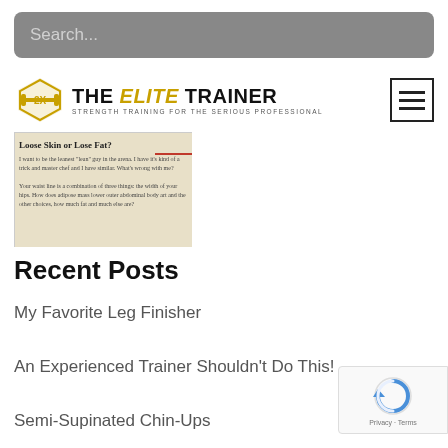Search...
[Figure (logo): The Elite Trainer logo with barbell icon and tagline: STRENGTH TRAINING FOR THE SERIOUS PROFESSIONAL]
[Figure (screenshot): Thumbnail of an article titled 'Loose Skin or Lose Fat?' with body text and a red tag]
Recent Posts
My Favorite Leg Finisher
An Experienced Trainer Shouldn't Do This!
Semi-Supinated Chin-Ups